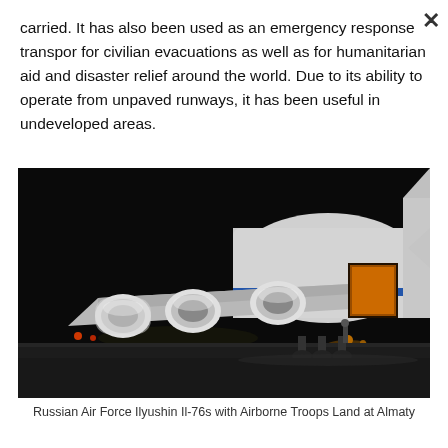carried. It has also been used as an emergency response transport for civilian evacuations as well as for humanitarian aid and disaster relief around the world. Due to its ability to operate from unpaved runways, it has been useful in undeveloped areas.
[Figure (photo): Night photograph of a Russian Air Force Ilyushin Il-76 military transport aircraft on a tarmac, viewed from the rear/side showing the four turbofan engines and the large fuselage, with cargo visible. Background is dark/night sky, airport lights visible in the distance, and a person standing near the aircraft.]
Russian Air Force Ilyushin Il-76s with Airborne Troops Land at Almaty